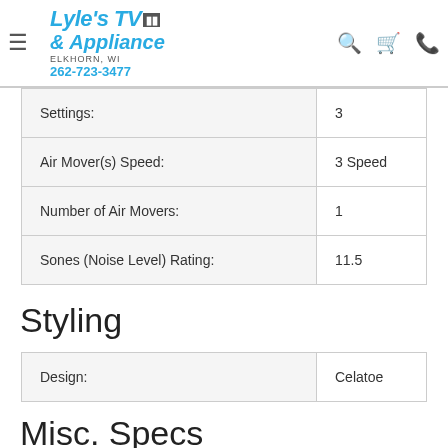Lyle's TV & Appliance — Elkhorn, WI — 262-723-3477
| Settings: | 3 |
| Air Mover(s) Speed: | 3 Speed |
| Number of Air Movers: | 1 |
| Sones (Noise Level) Rating: | 11.5 |
Styling
| Design: | Celatoe |
Misc. Specs